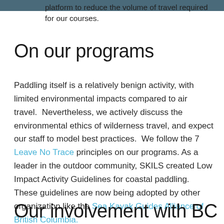platform to reduce the volume of travel required for our courses.
On our programs
Paddling itself is a relatively benign activity, with limited environmental impacts compared to air travel. Nevertheless, we actively discuss the environmental ethics of wilderness travel, and expect our staff to model best practices. We follow the 7 Leave No Trace principles on our programs. As a leader in the outdoor community, SKILS created Low Impact Activity Guidelines for coastal paddling. These guidelines are now being adopted by other organization like the Sea Kayak Guides Alliance of British Columbia.
Our involvement with BC